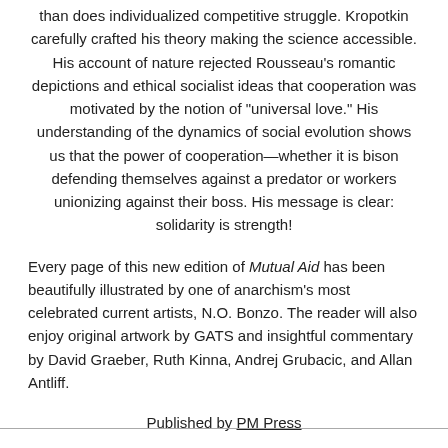than does individualized competitive struggle. Kropotkin carefully crafted his theory making the science accessible. His account of nature rejected Rousseau's romantic depictions and ethical socialist ideas that cooperation was motivated by the notion of "universal love." His understanding of the dynamics of social evolution shows us that the power of cooperation—whether it is bison defending themselves against a predator or workers unionizing against their boss. His message is clear: solidarity is strength!
Every page of this new edition of Mutual Aid has been beautifully illustrated by one of anarchism's most celebrated current artists, N.O. Bonzo. The reader will also enjoy original artwork by GATS and insightful commentary by David Graeber, Ruth Kinna, Andrej Grubacic, and Allan Antliff.
Published by PM Press